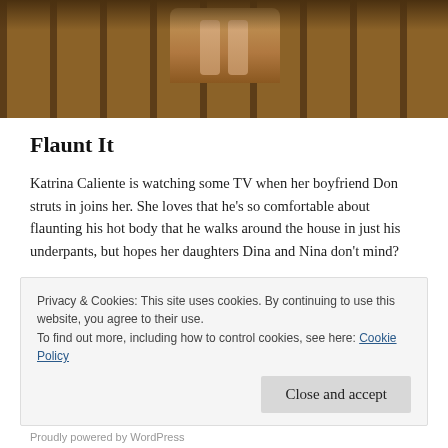[Figure (photo): Top portion of a screenshot showing wooden church pews, with what appears to be legs/figure seated in them, in warm brown tones.]
Flaunt It
Katrina Caliente is watching some TV when her boyfriend Don struts in joins her. She loves that he’s so comfortable about flaunting his hot body that he walks around the house in just his underpants, but hopes her daughters Dina and Nina don’t mind?
Privacy & Cookies: This site uses cookies. By continuing to use this website, you agree to their use.
To find out more, including how to control cookies, see here: Cookie Policy
Close and accept
Proudly powered by WordPress